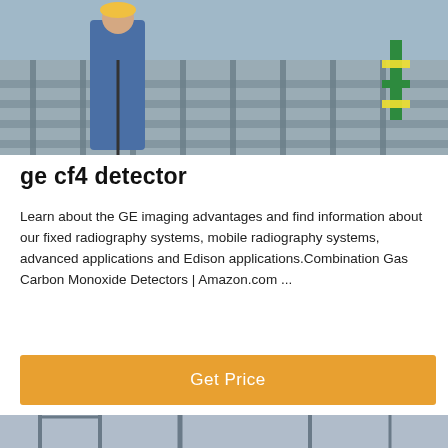[Figure (photo): Worker in blue overalls and hard hat standing on metal grating/scaffolding structure, industrial setting]
ge cf4 detector
Learn about the GE imaging advantages and find information about our fixed radiography systems, mobile radiography systems, advanced applications and Edison applications.Combination Gas Carbon Monoxide Detectors | Amazon.com ...
[Figure (other): Orange Get Price button]
[Figure (photo): Industrial equipment with cranes and machinery in background, chat support UI at bottom with Leave Message and Chat Online options and a support agent avatar]
Leave Message    Chat Online